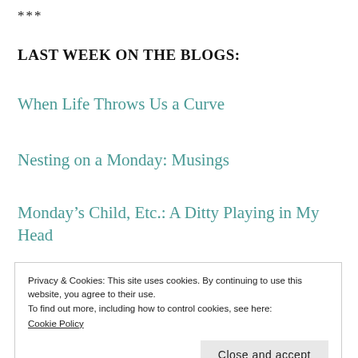***
LAST WEEK ON THE BLOGS:
When Life Throws Us a Curve
Nesting on a Monday: Musings
Monday’s Child, Etc.: A Ditty Playing in My Head
Privacy & Cookies: This site uses cookies. By continuing to use this website, you agree to their use.
To find out more, including how to control cookies, see here:
Cookie Policy
Close and accept